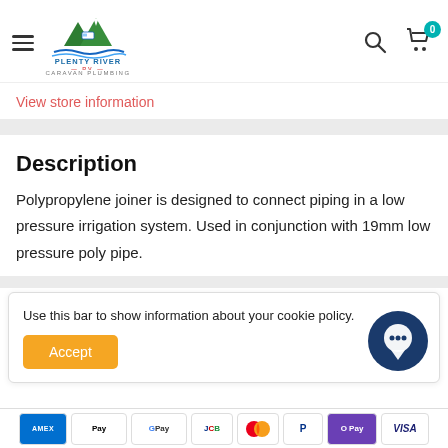[Figure (logo): Plenty River RV Caravan Plumbing logo with green mountain and river imagery]
View store information
Description
Polypropylene joiner is designed to connect piping in a low pressure irrigation system. Used in conjunction with 19mm low pressure poly pipe.
Use this bar to show information about your cookie policy.
Accept
[Figure (infographic): Payment method icons: Amex, Apple Pay, Google Pay, JCB, Mastercard, PayPal, OPay, Visa]